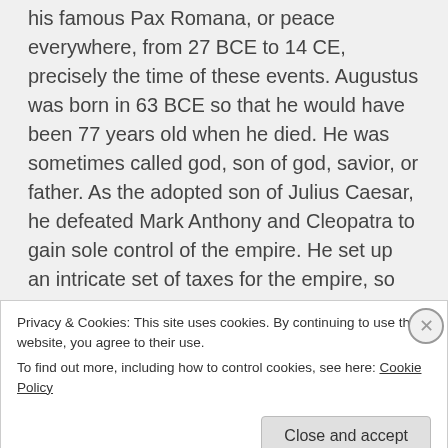his famous Pax Romana, or peace everywhere, from 27 BCE to 14 CE, precisely the time of these events. Augustus was born in 63 BCE so that he would have been 77 years old when he died. He was sometimes called god, son of god, savior, or father. As the adopted son of Julius Caesar, he defeated Mark Anthony and Cleopatra to gain sole control of the empire. He set up an intricate set of taxes for the empire, so that there was a consent source of income. Thus, the local tax collectors or publicans
Privacy & Cookies: This site uses cookies. By continuing to use this website, you agree to their use.
To find out more, including how to control cookies, see here: Cookie Policy
Close and accept
+ Follow